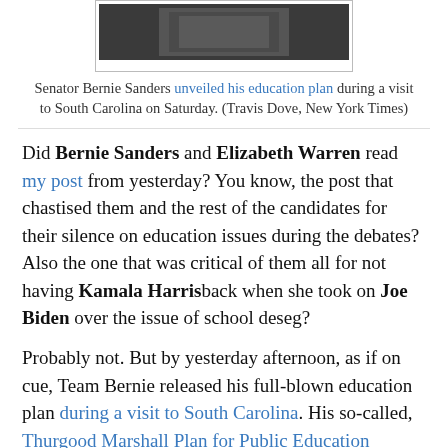[Figure (photo): Photo of Senator Bernie Sanders during a visit to South Carolina]
Senator Bernie Sanders unveiled his education plan during a visit to South Carolina on Saturday. (Travis Dove, New York Times)
Did Bernie Sanders and Elizabeth Warren read my post from yesterday? You know, the post that chastised them and the rest of the candidates for their silence on education issues during the debates? Also the one that was critical of them all for not having Kamala Harrisback when she took on Joe Biden over the issue of school deseg?
Probably not. But by yesterday afternoon, as if on cue, Team Bernie released his full-blown education plan during a visit to South Carolina. His so-called, Thurgood Marshall Plan for Public Education includes opposition to for-profit charter schools and calls for an end to public funding for charter school expansion on the grounds that charters promote school segregation.
This, about the same time as Sen. Warren was tweeting her defense of Sen. Harris against the racist backlash she's facing for